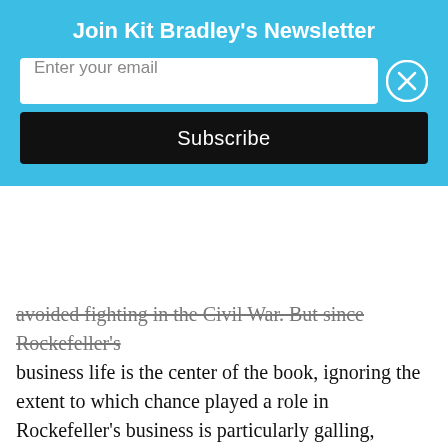Join Kit Bradley's Newsletter
Enter your email
Subscribe
avoided fighting in the Civil War. But since Rockefeller's business life is the center of the book, ignoring the extent to which chance played a role in Rockefeller's business is particularly galling, editorially. If someone gave me a manuscript and said that Rockefeller succeeded due to the non-specific traits of “willpower” and “concentration,” but described success due to chance, I’d send the manuscript back. I’d say, “There is a disconnect between your description of Rockefeller and your description of his actions. It wasn’t genius or willpower or concentration that got him into the oil business, but happenstance – that he was flush with money from wartime speculation in commodities and someone happened along and convinced him oil would be a good side business. If Rockefeller had lived in a different time or place, if